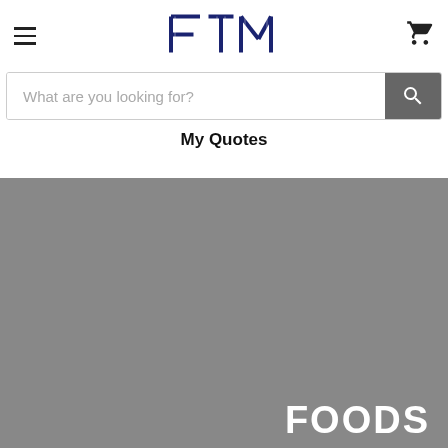[Figure (logo): FTM logo in dark navy italic block letters]
What are you looking for?
My Quotes
[Figure (photo): Large gray placeholder image area with white bold text 'FOODS' in the bottom right corner]